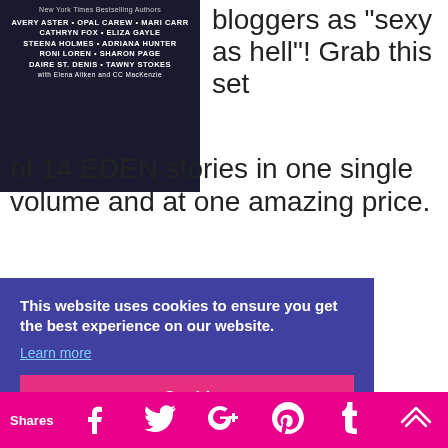[Figure (illustration): Book cover showing New York Times Bestselling Authors: Avery Aster, Opal Carew, Mari Carr, Cathryn Fox, Eliza Gayle, Steena Holmes, Adriana Hunter, Roni Loren, Sharon Page, Daire St. Denis, Tawny Stokes, with Elena Aitken and CC MacKenzie]
bloggers as “sexy as hell”! Grab this set of 14 EDEN stories in one single volume and at one amazing price.
This website uses cookies to ensure you get the best experience on our website.
Learn more
Got it!
romance bundle. We’ve packed
Shares